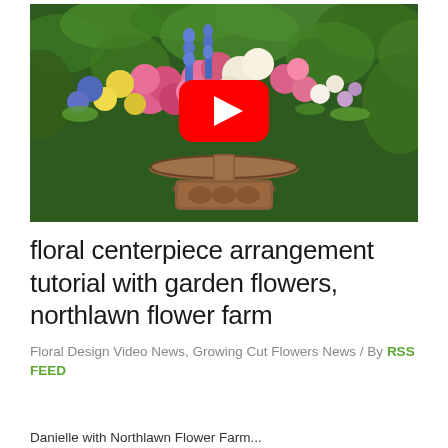[Figure (photo): A floral centerpiece arrangement with colorful garden flowers (pink roses, blue delphiniums, yellow blooms, white flowers) on a decorative carved wooden pedestal stand, set against a green leafy background. A YouTube play button (red rounded rectangle with white triangle) is overlaid in the center of the image.]
floral centerpiece arrangement tutorial with garden flowers, northlawn flower farm
Floral Design Video News, Growing Cut Flowers News / By RSS FEED
Danielle with Northlawn Flower Farm...